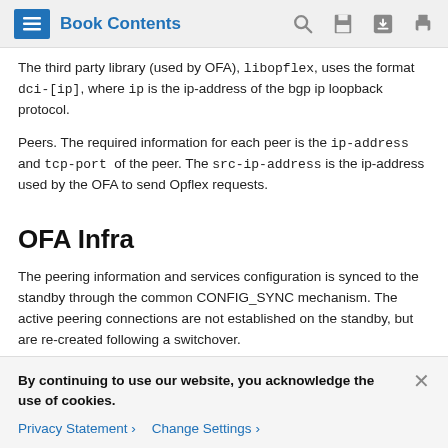Book Contents
The third party library (used by OFA), libopflex, uses the format dci-[ip], where ip is the ip-address of the bgp ip loopback protocol.
Peers. The required information for each peer is the ip-address and tcp-port of the peer. The src-ip-address is the ip-address used by the OFA to send Opflex requests.
OFA Infra
The peering information and services configuration is synced to the standby through the common CONFIG_SYNC mechanism. The active peering connections are not established on the standby, but are re-created following a switchover.
By continuing to use our website, you acknowledge the use of cookies.
Privacy Statement > Change Settings >